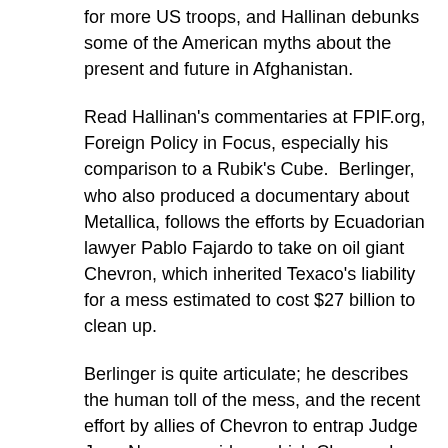for more US troops, and Hallinan debunks some of the American myths about the present and future in Afghanistan.
Read Hallinan's commentaries at FPIF.org, Foreign Policy in Focus, especially his comparison to a Rubik's Cube.  Berlinger, who also produced a documentary about Metallica, follows the efforts by Ecuadorian lawyer Pablo Fajardo to take on oil giant Chevron, which inherited Texaco's liability for a mess estimated to cost $27 billion to clean up.
Berlinger is quite articulate; he describes the human toll of the mess, and the recent effort by allies of Chevron to entrap Judge Juan Nunez on video--which Chevron has seized on.  More info at www.crudethemovie.com and www.amazonwatch.org
[Figure (other): Broken image placeholder for listen_button]